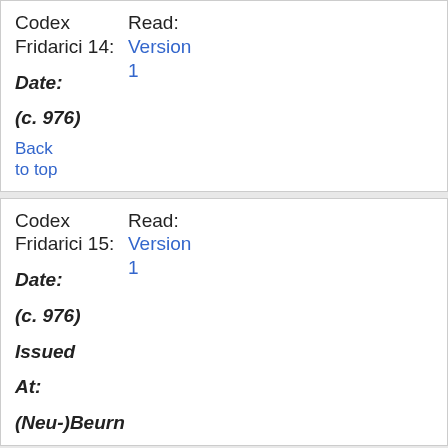| Codex Fridarici 14: | Read: Version 1 |
| Date: (c. 976) |  |
| Back to top |  |
| Codex Fridarici 15: | Read: Version 1 |
| Date: (c. 976) |  |
| Issued At: |  |
| (Neu-)Beurn |  |